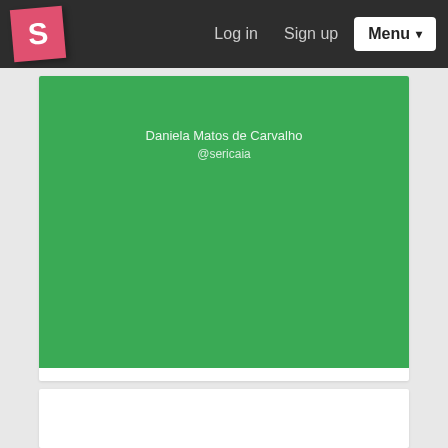S  Log in  Sign up  Menu
[Figure (screenshot): Green banner with user name 'Daniela Matos de Carvalho' and handle '@sericaia']
Accessibility: a real use case
Daniela Matos de Carvalho  1332 views